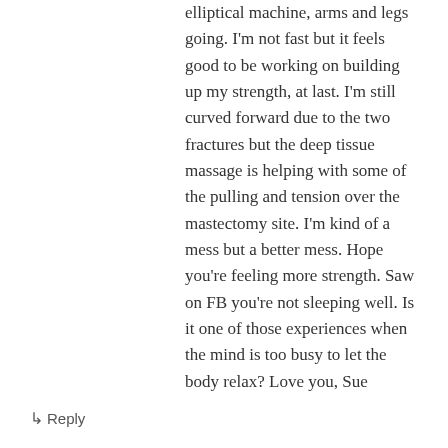elliptical machine, arms and legs going. I'm not fast but it feels good to be working on building up my strength, at last. I'm still curved forward due to the two fractures but the deep tissue massage is helping with some of the pulling and tension over the mastectomy site. I'm kind of a mess but a better mess. Hope you're feeling more strength. Saw on FB you're not sleeping well. Is it one of those experiences when the mind is too busy to let the body relax? Love you, Sue
↳ Reply
Lyn on May 1, 2015 at 8:21 pm
Sue, that's awesome! Keep up with the PT